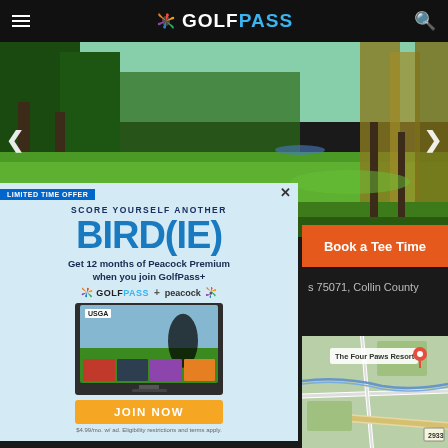GOLFPASS
[Figure (photo): Golf course fairway lined with trees, lush green grass in sunlight]
[Figure (advertisement): GolfPass + Peacock promotional ad: LIMITED TIME OFFER - SCORE YOURSELF ANOTHER BIRD(IE) - Get 12 months of Peacock Premium when you join GolfPass+ - GolfPass + peacock logos - TV showing USGA content - JOIN NOW button - $4.99/mo. w/ad. Eligibility restrictions and terms apply.]
Book a Tee Time
s 75071, Collin County
[Figure (map): Map showing The Four Paws Resort location, road 2933 visible]